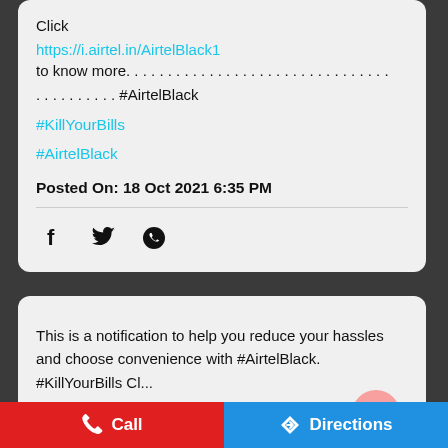Click https://i.airtel.in/AirtelBlack1 to know more. . . . . . . . . . . . . . . . . . . . . . . . . . . . . . . . . . . . . . . . . . . . . #AirtelBlack #KillYourBills #AirtelBlack Posted On: 18 Oct 2021 6:35 PM
[Figure (other): Social share icons: Facebook, Twitter, WhatsApp]
This is a notification to help you reduce your hassles and choose convenience with #AirtelBlack. #KillYourBills Cl... https://t.co/INXVpj71pn #AirtelBlack #KillYourBills
Call   Directions